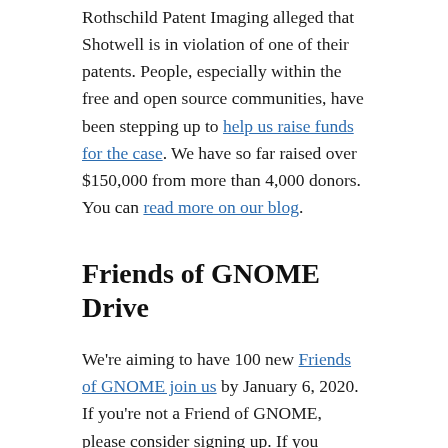Rothschild Patent Imaging alleged that Shotwell is in violation of one of their patents. People, especially within the free and open source communities, have been stepping up to help us raise funds for the case. We have so far raised over $150,000 from more than 4,000 donors. You can read more on our blog.
Friends of GNOME Drive
We're aiming to have 100 new Friends of GNOME join us by January 6, 2020. If you're not a Friend of GNOME, please consider signing up. If you already are, consider telling a friend of sharing on social media how to become a